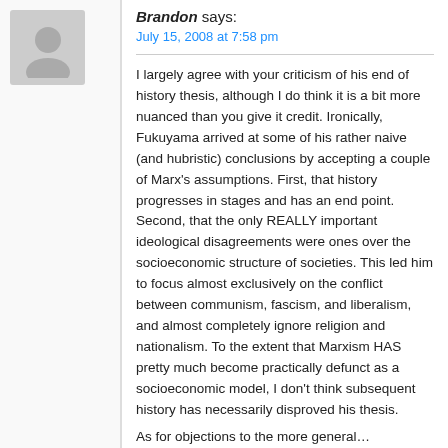Brandon says:
July 15, 2008 at 7:58 pm
I largely agree with your criticism of his end of history thesis, although I do think it is a bit more nuanced than you give it credit. Ironically, Fukuyama arrived at some of his rather naive (and hubristic) conclusions by accepting a couple of Marx's assumptions. First, that history progresses in stages and has an end point. Second, that the only REALLY important ideological disagreements were ones over the socioeconomic structure of societies. This led him to focus almost exclusively on the conflict between communism, fascism, and liberalism, and almost completely ignore religion and nationalism. To the extent that Marxism HAS pretty much become practically defunct as a socioeconomic model, I don't think subsequent history has necessarily disproved his thesis.
As for objections to the more general…